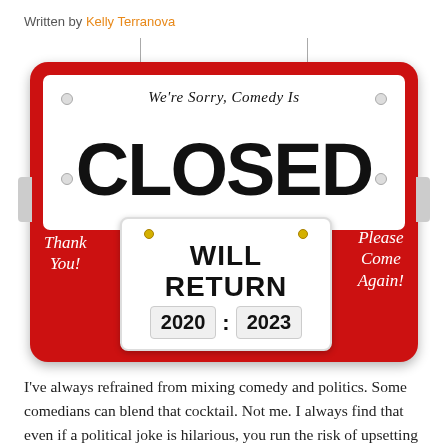Written by Kelly Terranova
[Figure (photo): A novelty 'Closed' sign styled like a store door hanger. Red and white sign reads 'We're Sorry, Comedy Is CLOSED' in large bold letters. A sub-sign reads 'WILL RETURN' with date boxes showing '2020 : 2023'. Side text reads 'Thank You!' and 'Please Come Again!']
I've always refrained from mixing comedy and politics. Some comedians can blend that cocktail. Not me. I always find that even if a political joke is hilarious, you run the risk of upsetting half the room. I always felt that to entertain